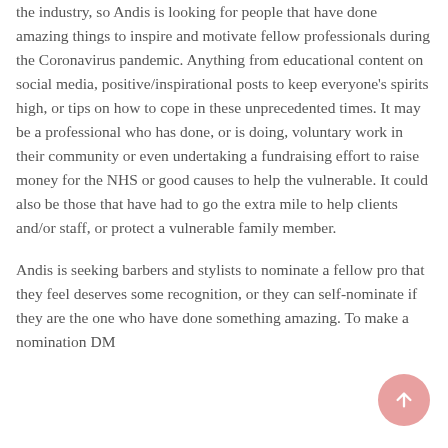the industry, so Andis is looking for people that have done amazing things to inspire and motivate fellow professionals during the Coronavirus pandemic. Anything from educational content on social media, positive/inspirational posts to keep everyone's spirits high, or tips on how to cope in these unprecedented times. It may be a professional who has done, or is doing, voluntary work in their community or even undertaking a fundraising effort to raise money for the NHS or good causes to help the vulnerable. It could also be those that have had to go the extra mile to help clients and/or staff, or protect a vulnerable family member.
Andis is seeking barbers and stylists to nominate a fellow pro that they feel deserves some recognition, or they can self-nominate if they are the one who have done something amazing. To make a nomination DM